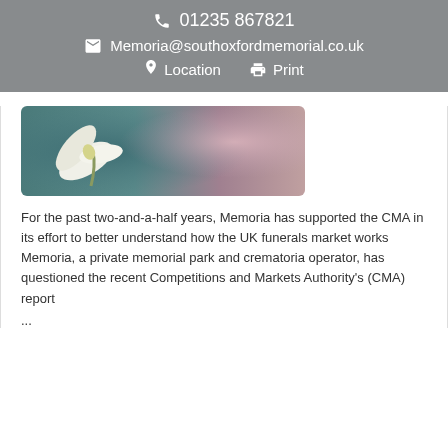📞 01235 867821 ✉ Memoria@southoxfordmemorial.co.uk 📍 Location 🖨 Print
[Figure (photo): A white calla lily flower against a blurred teal and pink bokeh background]
For the past two-and-a-half years, Memoria has supported the CMA in its effort to better understand how the UK funerals market works Memoria, a private memorial park and crematoria operator, has questioned the recent Competitions and Markets Authority's (CMA) report
...